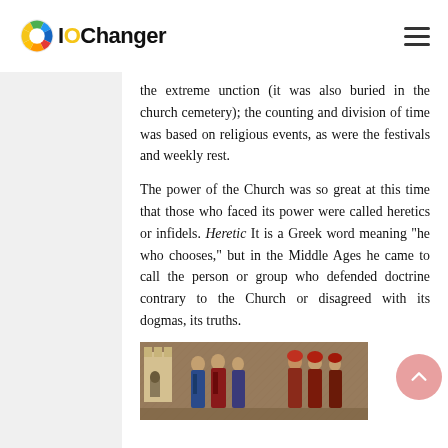IOChanger
the extreme unction (it was also buried in the church cemetery); the counting and division of time was based on religious events, as were the festivals and weekly rest.
The power of the Church was so great at this time that those who faced its power were called heretics or infidels. Heretic It is a Greek word meaning "he who chooses," but in the Middle Ages he came to call the person or group who defended doctrine contrary to the Church or disagreed with its dogmas, its truths.
[Figure (illustration): Medieval illuminated manuscript scene showing robed figures, possibly depicting a church-related scene from the Middle Ages]